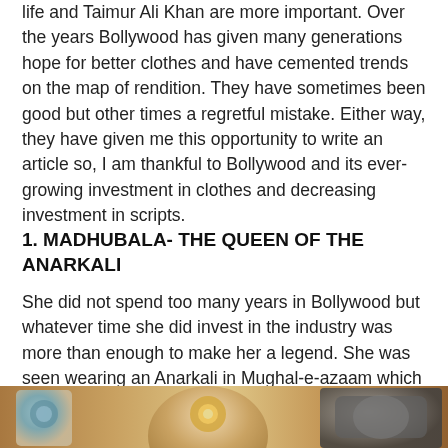life and Taimur Ali Khan are more important. Over the years Bollywood has given many generations hope for better clothes and have cemented trends on the map of rendition. They have sometimes been good but other times a regretful mistake. Either way, they have given me this opportunity to write an article so, I am thankful to Bollywood and its ever-growing investment in clothes and decreasing investment in scripts.
1. MADHUBALA- THE QUEEN OF THE ANARKALI
She did not spend too many years in Bollywood but whatever time she did invest in the industry was more than enough to make her a legend. She was seen wearing an Anarkali in Mughal-e-azaam which is still worn by women at weddings and other cultural events.
[Figure (photo): A partial image strip showing ornate decorative elements, appearing to be traditional Indian jewelry or costume details from a Bollywood film.]